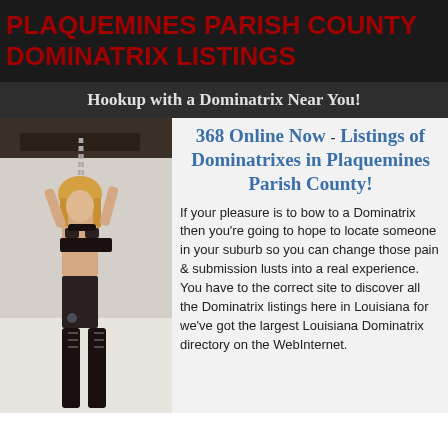PLAQUEMINES PARISH COUNTY DOMINATRIX LISTINGS
Hookup with a Dominatrix Near You!
[Figure (photo): Woman in bondage/dominatrix attire holding chains]
368 Online Now - Listings of Dominatrixes in Plaquemines Parish County!
If your pleasure is to bow to a Dominatrix then you're going to hope to locate someone in your suburb so you can change those pain & submission lusts into a real experience. You have to the correct site to discover all the Dominatrix listings here in Louisiana for we've got the largest Louisiana Dominatrix directory on the WebInternet.